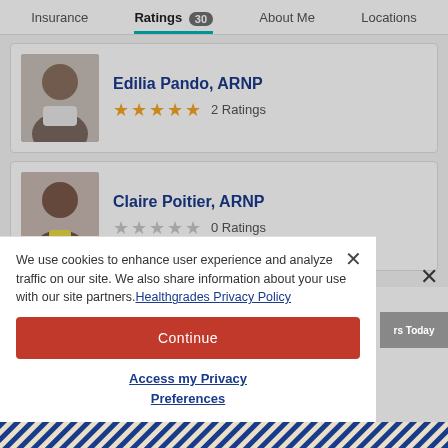Insurance  Ratings 30  About Me  Locations
Edilia Pando, ARNP — 2 Ratings (4 stars filled)
Claire Poitier, ARNP — 0 Ratings (0 stars filled)
We use cookies to enhance user experience and analyze traffic on our site. We also share information about your use with our site partners. Healthgrades Privacy Policy
Continue
Access my Privacy Preferences